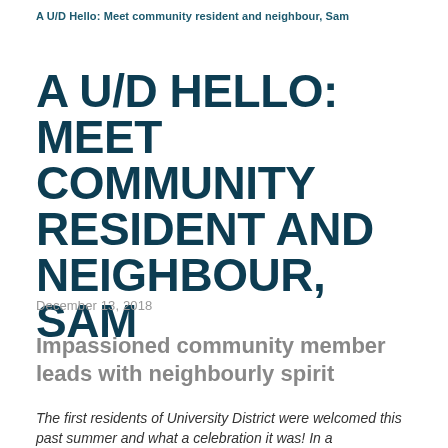A U/D Hello: Meet community resident and neighbour, Sam
A U/D HELLO: MEET COMMUNITY RESIDENT AND NEIGHBOUR, SAM
December 13, 2018
Impassioned community member leads with neighbourly spirit
The first residents of University District were welcomed this past summer and what a celebration it was! In a